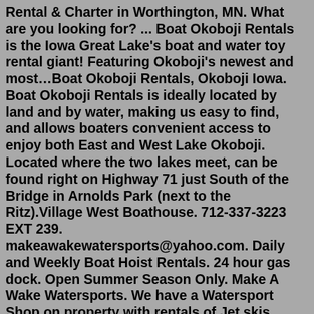Rental & Charter in Worthington, MN. What are you looking for? ... Boat Okoboji Rentals is the Iowa Great Lake's boat and water toy rental giant! Featuring Okoboji's newest and most…Boat Okoboji Rentals, Okoboji Iowa. Boat Okoboji Rentals is ideally located by land and by water, making us easy to find, and allows boaters convenient access to enjoy both East and West Lake Okoboji. Located where the two lakes meet, can be found right on Highway 71 just South of the Bridge in Arnolds Park (next to the Ritz).Village West Boathouse. 712-337-3223 EXT 239. makeawakewatersports@yahoo.com. Daily and Weekly Boat Hoist Rentals. 24 hour gas dock. Open Summer Season Only. Make A Wake Watersports. We have a Watersport Shop on property with rentals of Jet skis, Speed Boats, Pontoons, Paddle Boats, Kayaks, and many accessories. Rentals are hourly (1-50 hours). Off season things to do in the Okoboji area 21 August 2019; Things to do for nonboaters? 11 June 2019; Okoboji, Iowa - pool floats? 31 March 2019; Okoboji, Iowa in late october 28 March 2019;